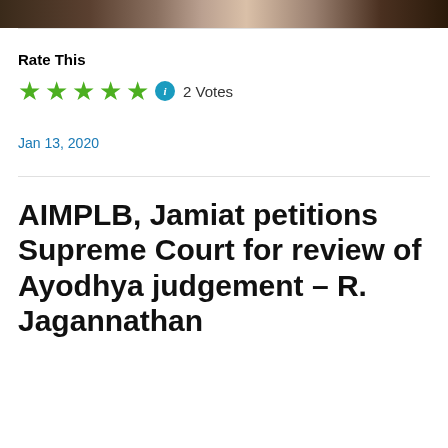[Figure (photo): Partial photo strip showing people at top of page]
Rate This
★★★★★ ℹ 2 Votes
Jan 13, 2020
AIMPLB, Jamiat petitions Supreme Court for review of Ayodhya judgement – R. Jagannathan